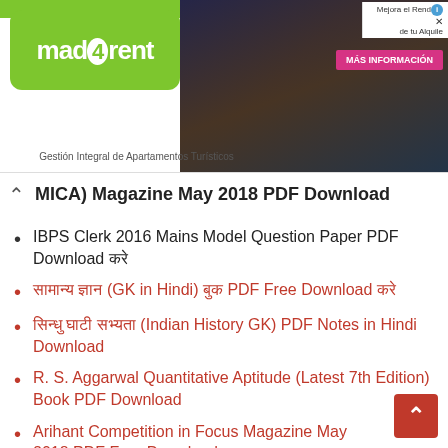[Figure (screenshot): Advertisement banner for mad4rent - Gestión Integral de Apartamentos Turísticos, with photo of person and MÁS INFORMACIÓN button]
MICA) Magazine May 2018 PDF Download
IBPS Clerk 2016 Mains Model Question Paper PDF Download करे
सामान्य ज्ञान (GK in Hindi) बुक PDF Free Download करे
सिन्धु घाटी सभ्यता (Indian History GK) PDF Notes in Hindi Download
R. S. Aggarwal Quantitative Aptitude (Latest 7th Edition) Book PDF Download
Arihant Competition in Focus Magazine May 2018 PDF Free Download